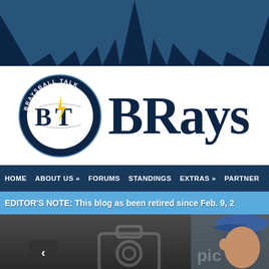[Figure (other): Dark navy banner with radiating light blue rays in background]
[Figure (logo): BraysBall Talk logo: circular navy badge with BT initials and baseball stitching, BRAYSBALL TALK text around ring, SINCE 2011 at bottom, with large navy serif text BRays partially visible]
HOME   ABOUT US »   FORUMS   STANDINGS   EXTRAS »   PARTNER
EDITOR'S NOTE: This blog as been retired since Feb. 9, 2
[Figure (photo): Photo area showing a dark blurred background with a camera placeholder icon and a person wearing a blue baseball cap on the right side, with a back arrow navigation button on the left]